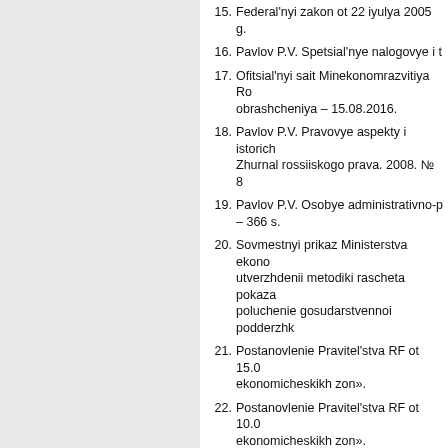15. Federal'nyi zakon ot 22 iyulya 2005 g...
16. Pavlov P.V. Spetsial'nye nalogovye i t...
17. Ofitsial'nyi sait Minekonomrazvitiya Ro... obrashcheniya – 15.08.2016.
18. Pavlov P.V. Pravovye aspekty i istorich... Zhurnal rossiiskogo prava. 2008. № 8
19. Pavlov P.V. Osobye administrativno-p... – 366 s.
20. Sovmestnyi prikaz Ministerstva ekono... utverzhdenii metodiki rascheta pokaza... poluchenie gosudarstvennoi podderzhk...
21. Postanovlenie Pravitel'stva RF ot 15.0... ekonomicheskikh zon».
22. Postanovlenie Pravitel'stva RF ot 10.0... ekonomicheskikh zon».
23. Otchet o rezul'tatakh funktsionirovaniiy... ekonomicheskikh zon. Minekonomrazv... http://economy.gov.ru/minec/about/stru...
24. «Kommersant» uznal o poruchenii zab... http://www.interfax.ru/russia/512607, d...
25. Kolesnikov A. A zony zdes' tikhie. «Ko... data obrashcheniya 29.07.2016.
26. Milyukova Ya., Glikin M., Nikol'skaya R...